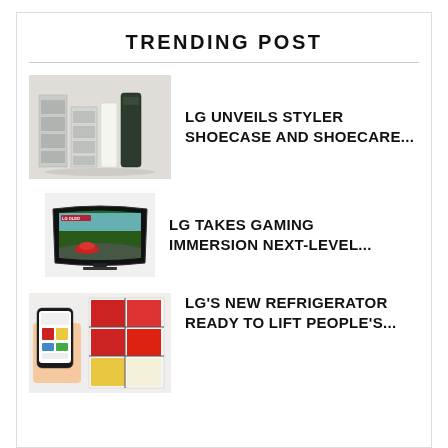TRENDING POST
[Figure (photo): LG Styler Shoecase and Shoecare products displayed on a light background]
LG UNVEILS STYLER SHOECASE AND SHOECARE...
[Figure (photo): LG OLED curved gaming TV showing a racing video game]
LG TAKES GAMING IMMERSION NEXT-LEVEL...
[Figure (photo): Hand holding a smartphone with LG refrigerator color app, next to a colorful red/yellow panel refrigerator]
LG'S NEW REFRIGERATOR READY TO LIFT PEOPLE'S...